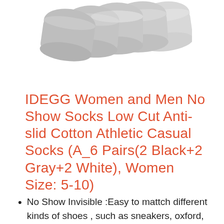[Figure (photo): Multiple gray low-cut no-show socks fanned out, showing the top/heel area against a white background]
IDEGG Women and Men No Show Socks Low Cut Anti-slid Cotton Athletic Casual Socks (A_6 Pairs(2 Black+2 Gray+2 White), Women Size: 5-10)
No Show Invisible :Easy to mattch different kinds of shoes , such as sneakers, oxford, running shoes